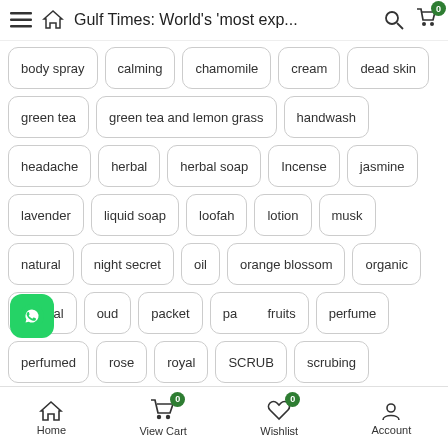Gulf Times: World's 'most exp...
body spray
calming
chamomile
cream
dead skin
green tea
green tea and lemon grass
handwash
headache
herbal
herbal soap
Incense
jasmine
lavender
liquid soap
loofah
lotion
musk
natural
night secret
oil
orange blossom
organic
oriental
oud
packet
passion fruits
perfume
perfumed
rose
royal
SCRUB
scrubing
shower gel
Home  View Cart 0  Wishlist 0  Account